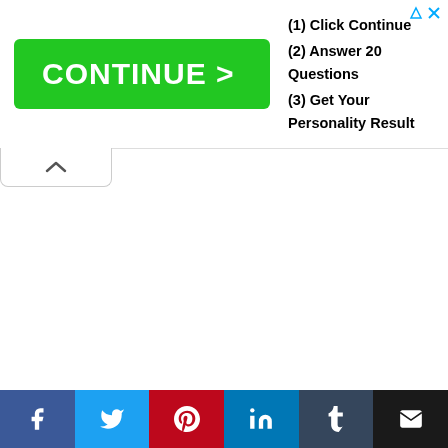[Figure (screenshot): Green CONTINUE > button advertisement banner with steps: (1) Click Continue, (2) Answer 20 Questions, (3) Get Your Personality Result]
(1) Click Continue
(2) Answer 20 Questions
(3) Get Your Personality Result
Capricorn
Connections Charter high school
Corey Graves
Matthew Polinsky
Nova Southeastern University
Relatives
Waynesburg University
[Figure (screenshot): Social sharing bar with Facebook, Twitter, Pinterest, LinkedIn, Tumblr, and Email buttons]